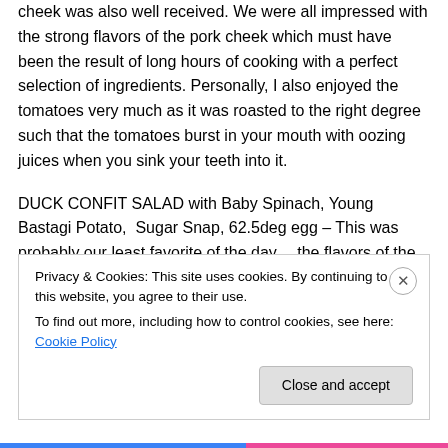cheek was also well received. We were all impressed with the strong flavors of the pork cheek which must have been the result of long hours of cooking with a perfect selection of ingredients. Personally, I also enjoyed the tomatoes very much as it was roasted to the right degree such that the tomatoes burst in your mouth with oozing juices when you sink your teeth into it.
DUCK CONFIT SALAD with Baby Spinach, Young Bastagi Potato, Sugar Snap, 62.5deg egg – This was probably our least favorite of the day….the flavors of the duck did not disappoint – however, we found the salad too dry and
Privacy & Cookies: This site uses cookies. By continuing to use this website, you agree to their use.
To find out more, including how to control cookies, see here: Cookie Policy